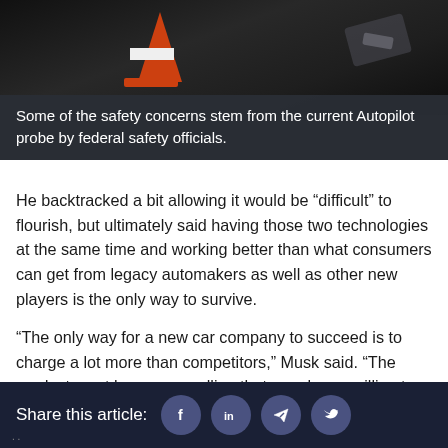[Figure (photo): Photograph showing a traffic cone and car parts on a dark wet surface]
Some of the safety concerns stem from the current Autopilot probe by federal safety officials.
He backtracked a bit allowing it would be “difficult” to flourish, but ultimately said having those two technologies at the same time and working better than what consumers can get from legacy automakers as well as other new players is the only way to survive.
“The only way for a new car company to succeed is to charge a lot more than competitors,” Musk said. “The product must be so compelling that people are willing to pay the premium above the incumbent car makers. Without electrification and autonomy this does not succeed.”
Share this article: